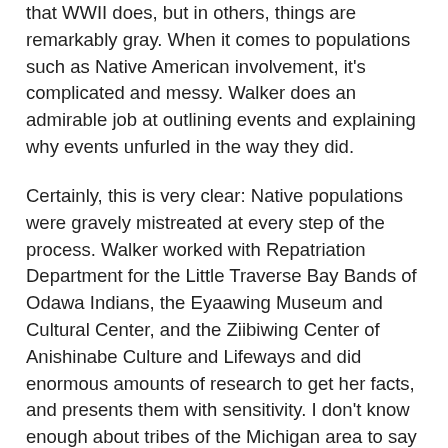that WWII does, but in others, things are remarkably gray. When it comes to populations such as Native American involvement, it's complicated and messy. Walker does an admirable job at outlining events and explaining why events unfurled in the way they did.
Certainly, this is very clear: Native populations were gravely mistreated at every step of the process. Walker worked with Repatriation Department for the Little Traverse Bay Bands of Odawa Indians, the Eyaawing Museum and Cultural Center, and the Ziibiwing Center of Anishinabe Culture and Lifeways and did enormous amounts of research to get her facts, and presents them with sensitivity. I don't know enough about tribes of the Michigan area to say if she gets all the details correct.
This covers a large span of time and an incredible amount of individuals. We see what life was like before the Civil War, have an understanding of why some Native peoples got involved, and have a harrowing overview of the treatment of veterans after the war. Detailing what happened to individuals is always a good way to put a human face on